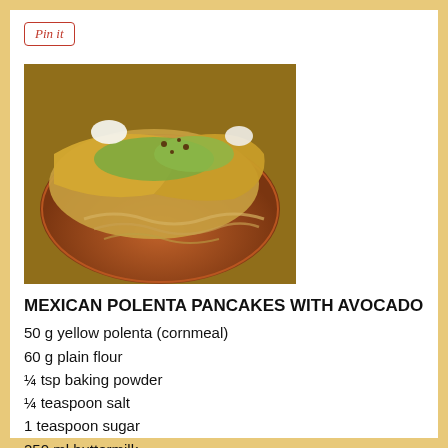[Figure (other): Pin it button with red italic text inside a rounded rectangle border]
[Figure (photo): Photo of Mexican polenta pancakes with avocado on a decorative plate, showing folded crepe-like pancakes filled with avocado and toppings]
MEXICAN POLENTA PANCAKES WITH AVOCADO
50 g yellow polenta (cornmeal)
60 g plain flour
¼ tsp baking powder
¼ teaspoon salt
1 teaspoon sugar
250 ml buttermilk
2 eggs